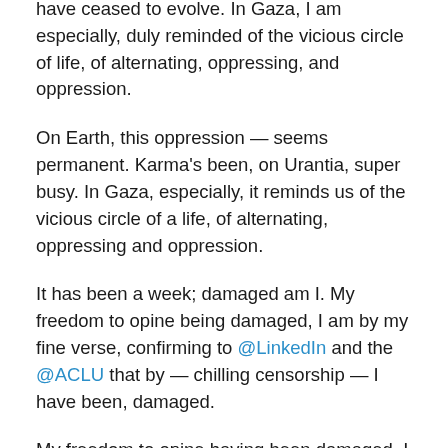have ceased to evolve. In Gaza, I am especially, duly reminded of the vicious circle of life, of alternating, oppressing, and oppression.
On Earth, this oppression — seems permanent. Karma's been, on Urantia, super busy. In Gaza, especially, it reminds us of the vicious circle of a life, of alternating, oppressing and oppression.
It has been a week; damaged am I. My freedom to opine being damaged, I am by my fine verse, confirming to @LinkedIn and the @ACLU that by — chilling censorship — I have been, damaged.
My freedom to opine having been damaged, I am by my verse, advising the @ACLU that by @LinkedIn's chilling censorship, I have been, damaged. I demand — ye cease